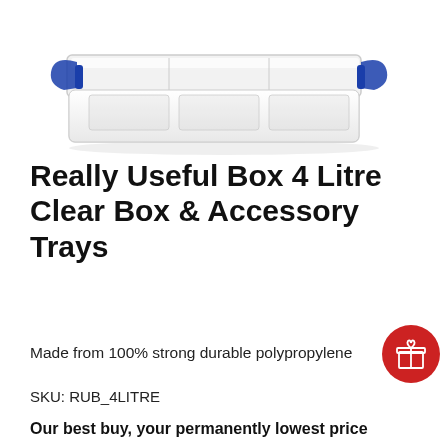[Figure (photo): A clear plastic storage box with blue clip handles, viewed from a slight angle, showing transparent lid and white body — Really Useful Box 4 Litre]
Really Useful Box 4 Litre Clear Box & Accessory Trays
Made from 100% strong durable polypropylene
SKU: RUB_4LITRE
Our best buy, your permanently lowest price